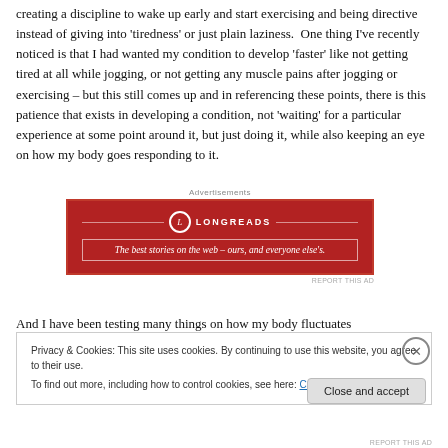creating a discipline to wake up early and start exercising and being directive instead of giving into 'tiredness' or just plain laziness.  One thing I've recently noticed is that I had wanted my condition to develop 'faster' like not getting tired at all while jogging, or not getting any muscle pains after jogging or exercising – but this still comes up and in referencing these points, there is this patience that exists in developing a condition, not 'waiting' for a particular experience at some point around it, but just doing it, while also keeping an eye on how my body goes responding to it.
[Figure (other): Longreads advertisement banner. Red background with white text: 'LONGREADS' and tagline 'The best stories on the web – ours, and everyone else's.']
And I have been testing many things on how my body fluctuates
Privacy & Cookies: This site uses cookies. By continuing to use this website, you agree to their use.
To find out more, including how to control cookies, see here: Cookie Policy
Close and accept